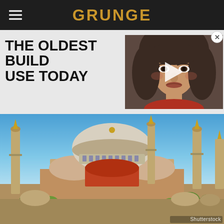GRUNGE
THE OLDEST BUILD USE TODAY
[Figure (photo): Video thumbnail of a woman with dark hair, portrait style, with a play button overlay]
[Figure (photo): Photograph of Hagia Sophia in Istanbul, Turkey — large domed building with minarets under a blue sky. Shutterstock watermark in bottom right.]